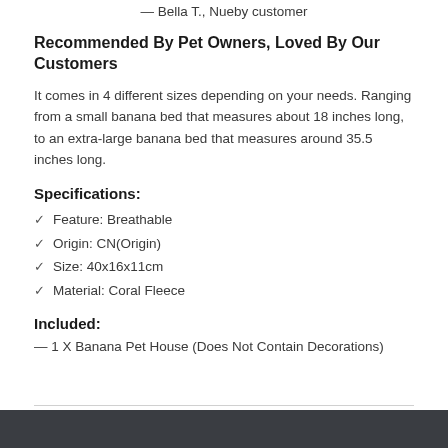— Bella T., Nueby customer
Recommended By Pet Owners, Loved By Our Customers
It comes in 4 different sizes depending on your needs. Ranging from a small banana bed that measures about 18 inches long, to an extra-large banana bed that measures around 35.5 inches long.
Specifications:
✓  Feature: Breathable
✓  Origin: CN(Origin)
✓  Size: 40x16x11cm
✓  Material: Coral Fleece
Included:
— 1 X Banana Pet House (Does Not Contain Decorations)